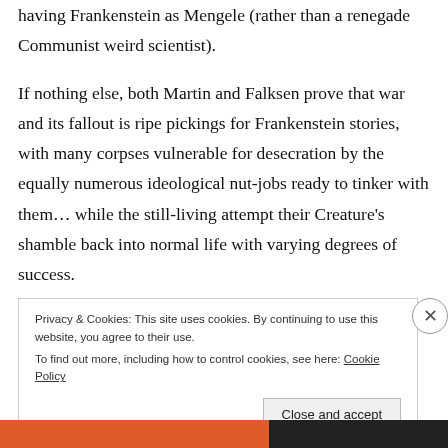having Frankenstein as Mengele (rather than a renegade Communist weird scientist).
If nothing else, both Martin and Falksen prove that war and its fallout is ripe pickings for Frankenstein stories, with many corpses vulnerable for desecration by the equally numerous ideological nut-jobs ready to tinker with them… while the still-living attempt their Creature's shamble back into normal life with varying degrees of success.
Privacy & Cookies: This site uses cookies. By continuing to use this website, you agree to their use. To find out more, including how to control cookies, see here: Cookie Policy
Close and accept